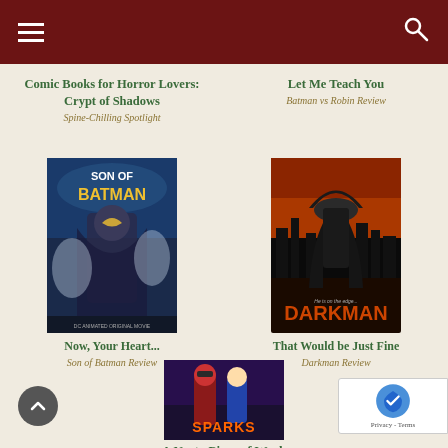Navigation bar with menu and search icons
Comic Books for Horror Lovers: Crypt of Shadows
Spine-Chilling Spotlight
Let Me Teach You
Batman vs Robin Review
[Figure (illustration): Son of Batman comic book cover art showing Batman characters in blue/grey tones]
Now, Your Heart...
Son of Batman Review
[Figure (illustration): Darkman movie poster showing a figure in a hat and coat against orange/dark background]
That Would be Just Fine
Darkman Review
[Figure (illustration): Sparks movie poster showing superhero characters]
A Nasty Piece of Work
Sparks Review